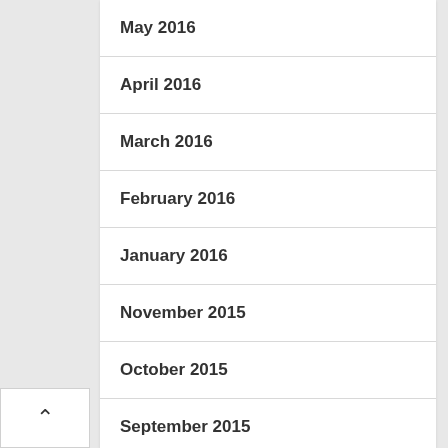May 2016
April 2016
March 2016
February 2016
January 2016
November 2015
October 2015
September 2015
August 2015
July 2015